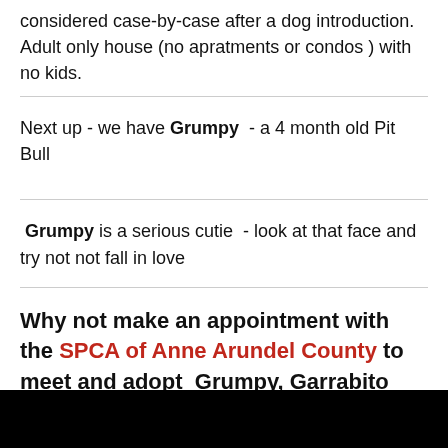considered case-by-case after a dog introduction. Adult only house (no apratments or condos ) with no kids.
Next up - we have Grumpy - a 4 month old Pit Bull
Grumpy is a serious cutie - look at that face and try not not fall in love
Why not make an appointment with the SPCA of Anne Arundel County to meet and adopt Grumpy, Garrabito Roger and